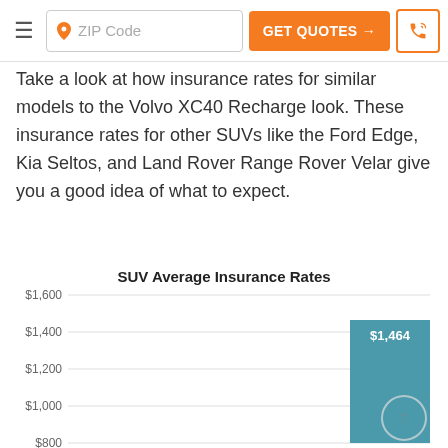ZIP Code | GET QUOTES → | [phone icon]
Take a look at how insurance rates for similar models to the Volvo XC40 Recharge look. These insurance rates for other SUVs like the Ford Edge, Kia Seltos, and Land Rover Range Rover Velar give you a good idea of what to expect.
[Figure (bar-chart): SUV Average Insurance Rates]